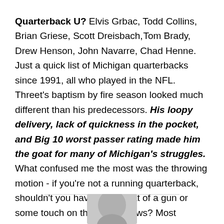Quarterback U? Elvis Grbac, Todd Collins, Brian Griese, Scott Dreisbach, Tom Brady, Drew Henson, John Navarre, Chad Henne. Just a quick list of Michigan quarterbacks since 1991, all who played in the NFL. Threet's baptism by fire season looked much different than his predecessors. His loopy delivery, lack of quickness in the pocket, and Big 10 worst passer rating made him the goat for many of Michigan's struggles. What confused me the most was the throwing motion - if you're not a running quarterback, shouldn't you have somewhat of a gun or some touch on the short throws? Most Wolverines are fine never seeing Threet in the Maize and Blue again.
[Figure (photo): Partial photo of a person's face/head at the bottom of the page]